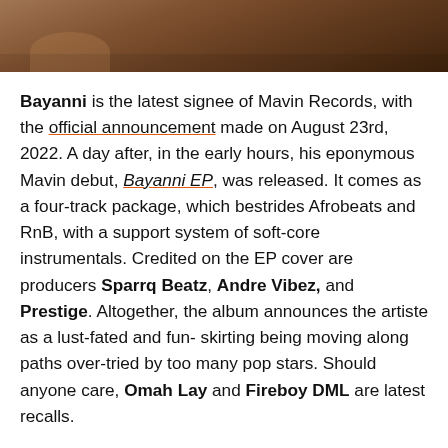[Figure (photo): Partial photo of a person, cropped, showing upper body area with dark/warm tones, bottom portion of image visible at top of page.]
Bayanni is the latest signee of Mavin Records, with the official announcement made on August 23rd, 2022. A day after, in the early hours, his eponymous Mavin debut, Bayanni EP, was released. It comes as a four-track package, which bestrides Afrobeats and RnB, with a support system of soft-core instrumentals. Credited on the EP cover are producers Sparrq Beatz, Andre Vibez, and Prestige. Altogether, the album announces the artiste as a lust-fated and fun-skirting being moving along paths over-tried by too many pop stars. Should anyone care, Omah Lay and Fireboy DML are latest recalls.
One impression Bayanni creates at ease in the opening track, Family is a sympathetic sense of